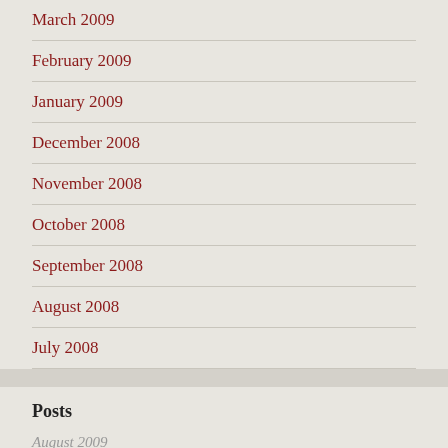March 2009
February 2009
January 2009
December 2008
November 2008
October 2008
September 2008
August 2008
July 2008
Posts
August 2009
| M | T | W | T | F | S | S |
| --- | --- | --- | --- | --- | --- | --- |
|  |  |  |  |  | 1 | 2 |